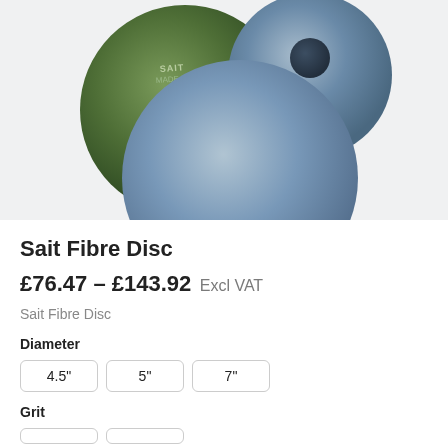[Figure (photo): Three abrasive fibre discs arranged overlapping: a dark green disc at back-left, a smaller blue-grey disc at top-center with a dark center hole, and a large blue-grey disc in the foreground.]
Sait Fibre Disc
£76.47 – £143.92 Excl VAT
Sait Fibre Disc
Diameter
4.5"
5"
7"
Grit